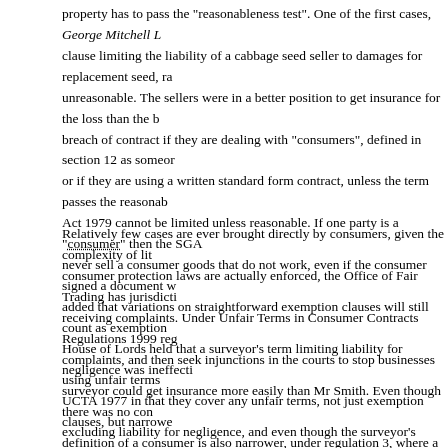property has to pass the "reasonableness test". One of the first cases, George Mitchell L... clause limiting the liability of a cabbage seed seller to damages for replacement seed, ra... unreasonable. The sellers were in a better position to get insurance for the loss than the b... breach of contract if they are dealing with "consumers", defined in section 12 as someor... or if they are using a written standard form contract, unless the term passes the reasonab... Act 1979 cannot be limited unless reasonable. If one party is a "consumer" then the SGA... never sell a consumer goods that do not work, even if the consumer signed a document w... added that variations on straightforward exemption clauses will still count as exemption... House of Lords held that a surveyor's term limiting liability for negligence was ineffecti... surveyor could get insurance more easily than Mr Smith. Even though there was no con... excluding liability for negligence, and even though the surveyor's exclusion clause migh... if liability would exist "but for" the notice excluding liability: then the exclusion is pote...
Relatively few cases are ever brought directly by consumers, given the complexity of lit... consumer protection laws are actually enforced, the Office of Fair Trading has jurisdicti... receiving complaints. Under Unfair Terms in Consumer Contracts Regulations 1999 reg... complaints, and then seek injunctions in the courts to stop businesses using unfair terms... UCTA 1977 in that they cover any unfair terms, not just exemption clauses, but narrowe... definition of a consumer is also narrower, under regulation 3, where a consumer must be... contracts outside his business. However, while the United Kingdom could always opt fo... it opted to follow the bare minimum requirements, and not to cover every contract term... which do not involve the "definition of the main subject matter of the contract", or term...